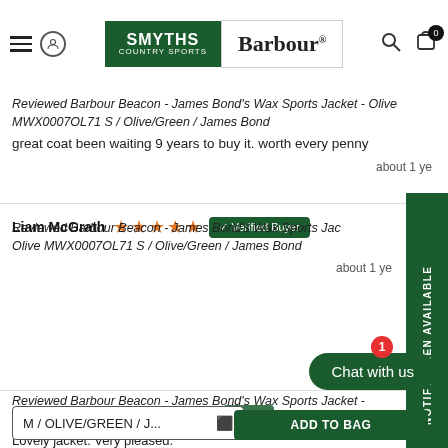[Figure (logo): Smyths Country Sports and Barbour co-branded logo in page header]
Reviewed Barbour Beacon - James Bond's Wax Sports Jacket - Olive MWX0007OL71 S / Olive/Green / James Bond
great coat been waiting 9 years to buy it. worth every penny
about 1 ye
Liam McGrath ★★★★★ Verified Buyer
Reviewed Barbour Beacon - James Bond's Wax Sports Jacket - Olive MWX0007OL71 S / Olive/Green / James Bond
about 1 ye
Melanie Corless ★★★★★ Verified Buyer
Reviewed Barbour Beacon - James Bond's Wax Sports Jacket - Olive M
Lovely jacket. Very pleased.
M / OLIVE/GREEN / J...
Chat with us